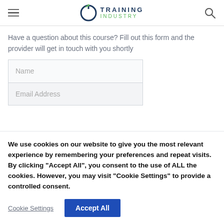Training Industry
Have a question about this course? Fill out this form and the provider will get in touch with you shortly
Name
Email Address
We use cookies on our website to give you the most relevant experience by remembering your preferences and repeat visits. By clicking “Accept All”, you consent to the use of ALL the cookies. However, you may visit “Cookie Settings” to provide a controlled consent.
Cookie Settings
Accept All